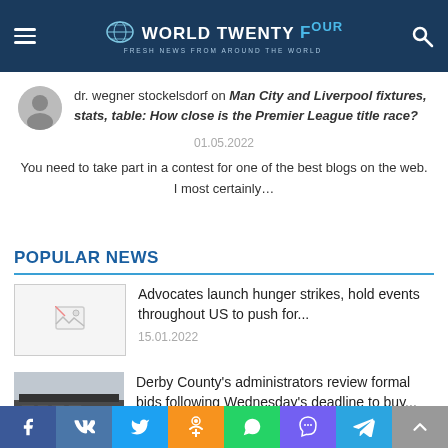WORLD TWENTY FOUR — Fresh news from around the world
dr. wegner stockelsdorf on Man City and Liverpool fixtures, stats, table: How close is the Premier League title race?
01.05.2022
You need to take part in a contest for one of the best blogs on the web. I most certainly…
POPULAR NEWS
Advocates launch hunger strikes, hold events throughout US to push for...
15.01.2022
[Figure (photo): Broken image placeholder for news article thumbnail]
Derby County's administrators review formal bids following Wednesday's deadline to buy...
24.02.2022
[Figure (photo): Derby County stadium exterior photo]
Social share bar: Facebook, VK, Twitter, Odnoklassniki, WhatsApp, Viber, Telegram, Scroll to top